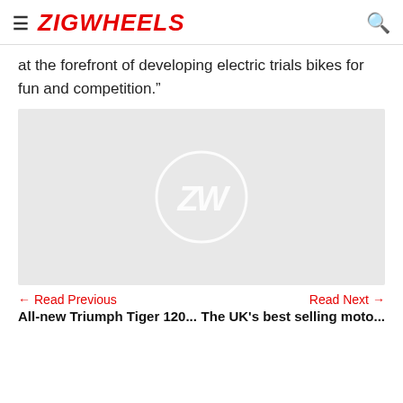ZIGWHEELS
at the forefront of developing electric trials bikes for fun and competition.”
[Figure (photo): Light grey image placeholder with a circular ZW (Zigwheels) watermark logo in the center]
← Read Previous
All-new Triumph Tiger 120...
Read Next →
The UK’s best selling moto...